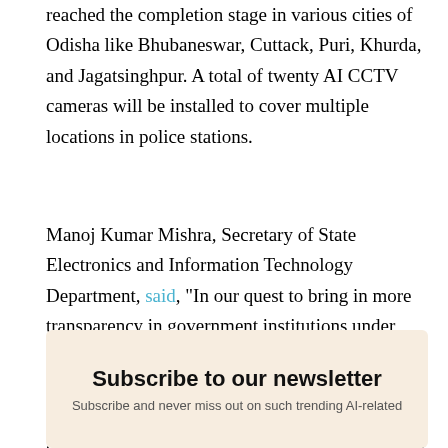reached the completion stage in various cities of Odisha like Bhubaneswar, Cuttack, Puri, Khurda, and Jagatsinghpur. A total of twenty AI CCTV cameras will be installed to cover multiple locations in police stations.
Manoj Kumar Mishra, Secretary of State Electronics and Information Technology Department, said, "In our quest to bring in more transparency in government institutions under that 5T charter, the state government will expedite installation of CCTV cameras in all 593 police stations." He also mentioned that this would enable authorities to monitor police stations using the latest technology.
Subscribe to our newsletter
Subscribe and never miss out on such trending AI-related